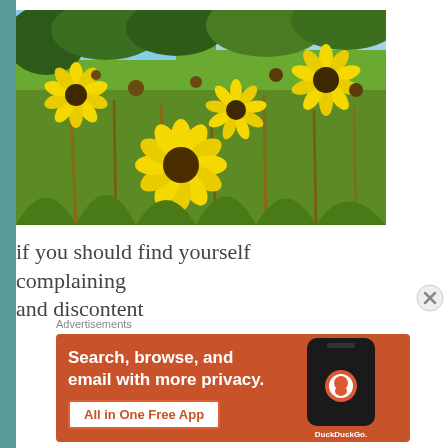[Figure (photo): Field of yellow daisy-like wildflowers (black-eyed susan type) with green stems and brown seed heads, photographed from a low angle with blue sky and green trees in background]
if you should find yourself complaining
and discontent
Advertisements
[Figure (infographic): DuckDuckGo advertisement banner with orange background. Text reads: 'Search, browse, and email with more privacy. All in One Free App' with DuckDuckGo logo and phone mockup on right side.]